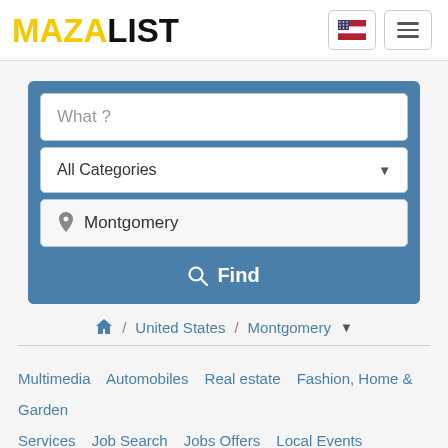MAZALIST
[Figure (screenshot): Search form with What?, All Categories dropdown, Montgomery location input, and Find button]
Home / United States / Montgomery
Multimedia   Automobiles   Real estate   Fashion, Home & Garden   Services   Job Search   Jobs Offers   Local Events   Learning   Community   Pets & Mascots   Free Dating